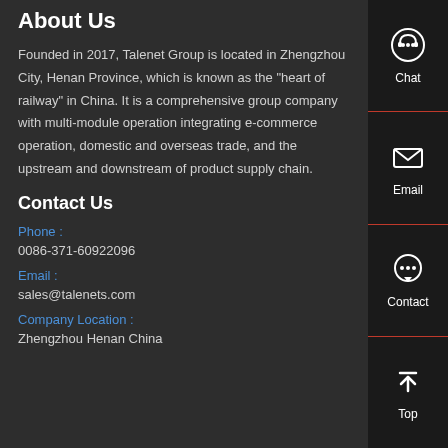About Us
Founded in 2017, Talenet Group is located in Zhengzhou City, Henan Province, which is known as the "heart of railway" in China. It is a comprehensive group company with multi-module operation integrating e-commerce operation, domestic and overseas trade, and the upstream and downstream of product supply chain.
Contact Us
Phone :
0086-371-60922096
Email :
sales@talenets.com
Company Location :
Zhengzhou Henan China
[Figure (infographic): Sidebar navigation panel with Chat, Email, Contact, and Top icons on dark background]